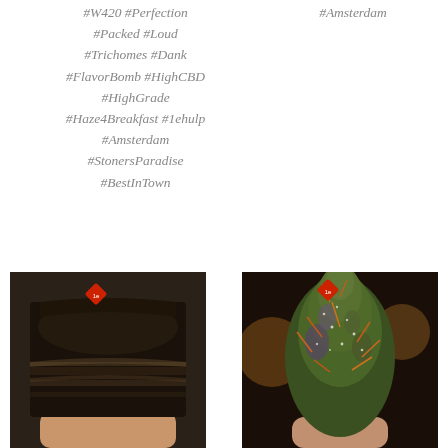#W420 #Perfection #Packed #Loud #Trichomes #Dank #FlavorBomb #HighCBD #HighGrade #Haze4Breakfast #1ehulp #Amsterdam #StonersParadise #BestInTown
#Amsterdam
[Figure (photo): A hand holding a dark brownish-black block of hash/concentrate with layered texture and a small red diamond logo watermark]
[Figure (photo): A hand holding a large dense cannabis bud with green and purple coloring, orange hairs, and a small red diamond logo watermark]